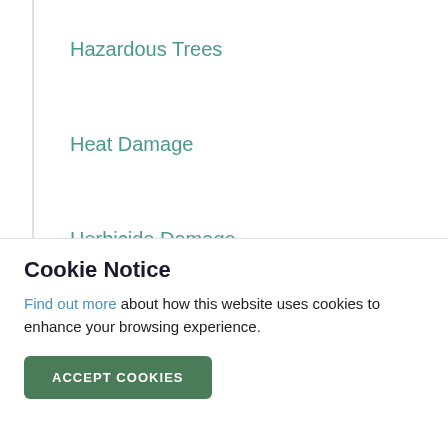Hazardous Trees
Heat Damage
Herbicide Damage
Historical Trees
Honeydew
Honors and Awards
Horticulture
Cookie Notice
Find out more about how this website uses cookies to enhance your browsing experience.
ACCEPT COOKIES